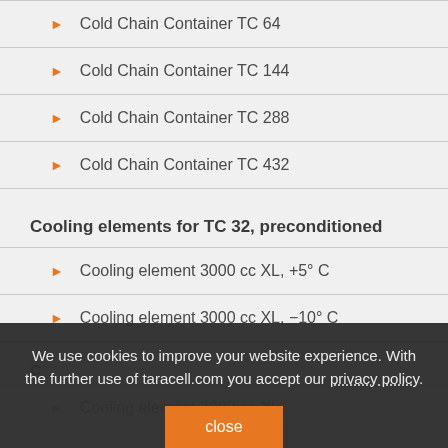Cold Chain Container TC 64
Cold Chain Container TC 144
Cold Chain Container TC 288
Cold Chain Container TC 432
Cooling elements for TC 32, preconditioned
Cooling element 3000 cc XL, +5° C
Cooling element 3000 cc XL, −10° C
We use cookies to improve your website experience. With the further use of taracell.com you accept our privacy policy.
Cooling element 3000 cc XL